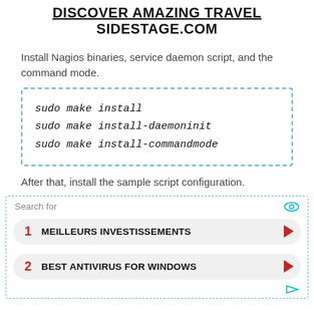DISCOVER AMAZING TRAVEL SIDESTAGE.COM
Install Nagios binaries, service daemon script, and the command mode.
After that, install the sample script configuration.
[Figure (other): Advertisement search widget with two items: 1. MEILLEURS INVESTISSEMENTS, 2. BEST ANTIVIRUS FOR WINDOWS]